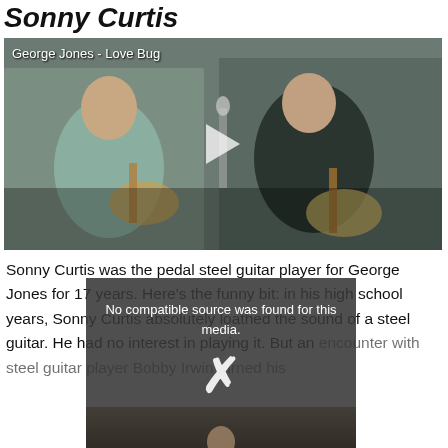Sonny Curtis
[Figure (screenshot): Video thumbnail showing performers playing guitars on stage, labeled 'George Jones - Love Bug', with a play button overlay.]
Sonny Curtis was the pedal steel guitar player for George Jones for 17 years. Here's the funny bit: in his high school years, Sonny Curtis absolutely loathed the sound of a steel guitar. He had no interest in playing it. But an encounter with steel guitar player Bobby Irwin turned his
[Figure (screenshot): Overlay dialog on video player showing 'No compatible source was found for this media.' with an X close button and a dark background image of a guitar player.]